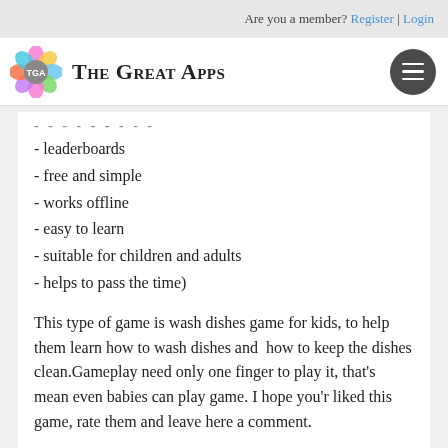Are you a member? Register | Login
[Figure (logo): The Great Apps logo with colorful flower icon and TGA text, plus hamburger menu icon]
- leaderboards
- free and simple
- works offline
- easy to learn
- suitable for children and adults
- helps to pass the time)
This type of game is wash dishes game for kids, to help them learn how to wash dishes and  how to keep the dishes clean.Gameplay need only one finger to play it, that's mean even babies can play game. I hope you'r liked this game, rate them and leave here a comment.